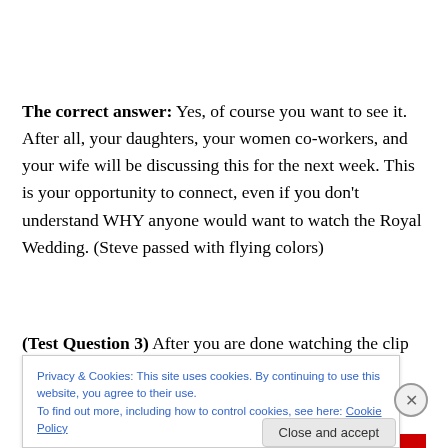The correct answer:  Yes, of course you want to see it. After all, your daughters, your women co-workers, and your wife will be discussing this for the next week. This is your opportunity to connect, even if you don't understand WHY anyone would want to watch the Royal Wedding. (Steve passed with flying colors)
(Test Question 3) After you are done watching the clip of
Privacy & Cookies: This site uses cookies. By continuing to use this website, you agree to their use.
To find out more, including how to control cookies, see here: Cookie Policy